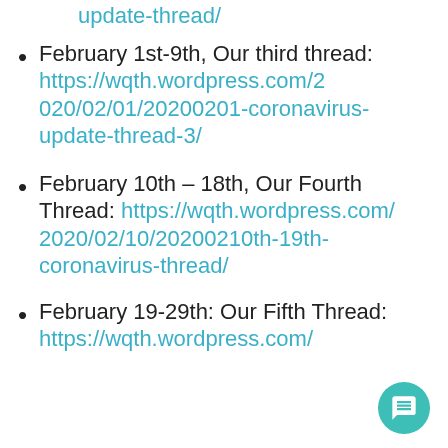update-thread/
February 1st-9th, Our third thread: https://wqth.wordpress.com/2020/02/01/20200201-coronavirus-update-thread-3/
February 10th – 18th, Our Fourth Thread: https://wqth.wordpress.com/2020/02/10/20200210th-19th-coronavirus-thread/
February 19-29th: Our Fifth Thread: https://wqth.wordpress.com/